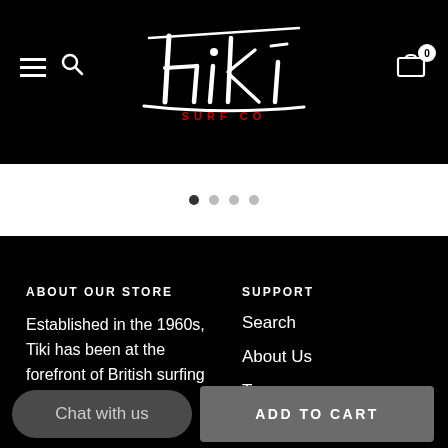Tiki Surf Co navigation header with hamburger menu, search icon, Tiki Surf Co logo, and cart icon with 0 badge
[Figure (screenshot): Carousel dot indicators: one filled dark dot (active) and three lighter dots (inactive)]
ABOUT OUR STORE
Established in the 1960s, Tiki has been at the forefront of British surfing for over 50 years and remains the UK's
SUPPORT
Search
About Us
Team
Blog
Chat with us
ADD TO CART
Our Tiki Surf Shop in